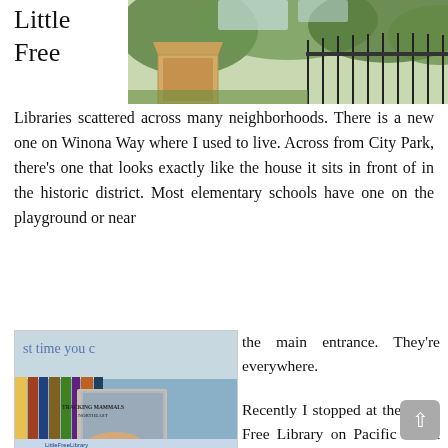[Figure (photo): Outdoor photo of a Little Free Library box on a wooden post, with trees and metal fence visible in the background. Green foliage surrounds the structure.]
Little Free
Libraries scattered across many neighborhoods. There is a new one on Winona Way where I used to live. Across from City Park, there's one that looks exactly like the house it sits in front of in the historic district. Most elementary schools have one on the playground or near the main entrance. They're everywhere.

Recently I stopped at the Little Free Library on Pacific Street to leave a new copy of Linda Spielman's new field guide and took an old paperback edition of Barbara Pym's Excellent Women. First published in 1952, this comedy of manners is a favorite of mine. The book
[Figure (photo): Close-up photo of a hand holding a book titled 'Tracking Mammals of the Northeast' in front of an open Little Free Library box filled with books. A 'Little Free Library' sign is visible at the bottom.]